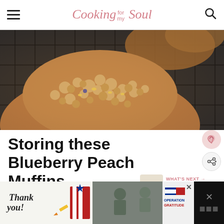Cooking for my Soul
[Figure (photo): Close-up photo of a blueberry peach muffin with streusel topping on a wire cooling rack, warm golden-brown tones]
Storing these Blueberry Peach Muffins
[Figure (photo): Small thumbnail of Lemon Ricotta Cookies - round white cookies on a surface]
WHAT'S NEXT → Lemon Ricotta Cookies
[Figure (photo): Advertisement banner - Operation Gratitude: Thank you military appreciation ad with soldier images]